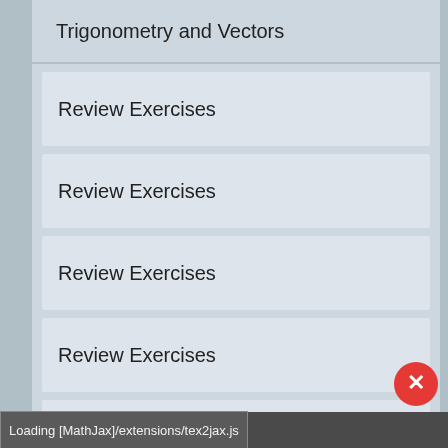Trigonometry and Vectors
Review Exercises
Review Exercises
Review Exercises
Review Exercises
Review Exercises
Test
Test
Chapter 8
Loading [MathJax]/extensions/tex2jax.js